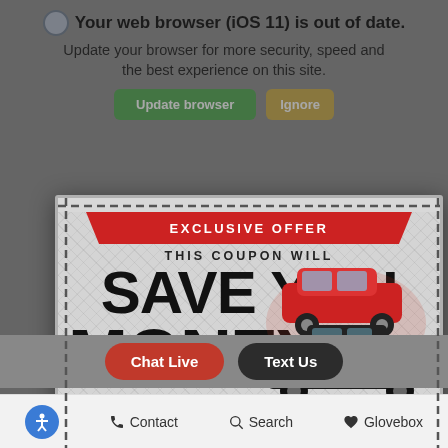Your web browser (iOS 11) is out of date. Update your browser for more security, speed and the best experience on this site.
[Figure (screenshot): Background website page with browser update warning and chat/text buttons visible]
[Figure (infographic): Coupon popup modal with dashed border. Header: EXCLUSIVE OFFER. THIS COUPON WILL SAVE YOU MONEY. Images of a red Buick SUV and black GMC truck. Text: Get our Hottest Deals on Every New Buick or GMC in Stock Today! Red button: YES, I WANT MY COUPON CODE. Gray button: NO, I KNOW I AM MISSING OUT.]
YES, I WANT MY COUPON CODE
NO, I KNOW I AM MISSING OUT
Chat Live
Text Us
Contact   Search   Glovebox